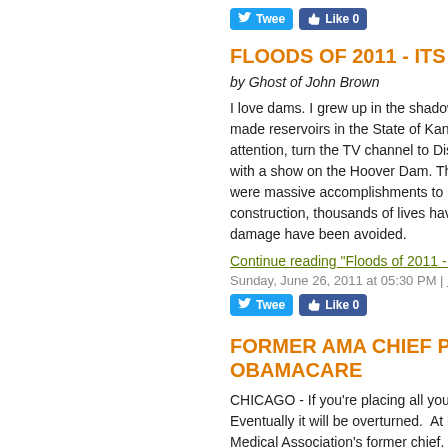[Figure (other): Tweet and Like social buttons row at top]
FLOODS OF 2011 - ITS NOT MO
by Ghost of John Brown
I love dams. I grew up in the shadow of d made reservoirs in the State of Kansas. attention, turn the TV channel to Discove with a show on the Hoover Dam. The da were massive accomplishments to man's construction, thousands of lives have be damage have been avoided.
Continue reading "Floods of 2011 - Its N
Sunday, June 26, 2011 at 05:30 PM | Permalink | Co
[Figure (other): Tweet and Like social buttons row]
FORMER AMA CHIEF PREDICT OBAMACARE
CHICAGO - If you're placing all your hea Eventually it will be overturned.  At least Medical Association's former chief.